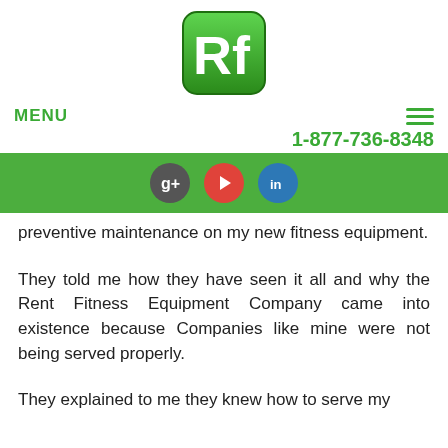[Figure (logo): Rf logo — green rounded square with white letters Rf]
MENU    1-877-736-8348
[Figure (infographic): Green navigation bar with three social media icons: Google+, YouTube, LinkedIn]
preventive maintenance on my new fitness equipment.
They told me how they have seen it all and why the Rent Fitness Equipment Company came into existence because Companies like mine were not being served properly.
They explained to me they knew how to serve my